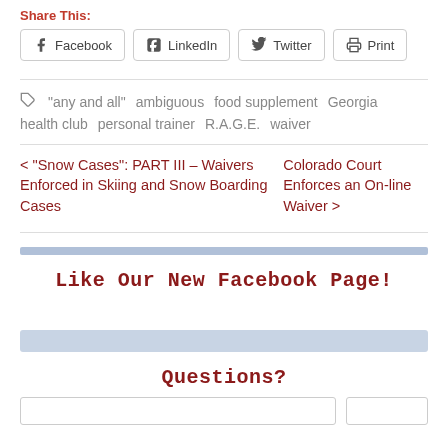Share This:
[Figure (other): Social share buttons: Facebook, LinkedIn, Twitter, Print]
"any and all"  ambiguous  food supplement  Georgia  health club  personal trainer  R.A.G.E.  waiver
< "Snow Cases": PART III – Waivers Enforced in Skiing and Snow Boarding Cases
Colorado Court Enforces an On-line Waiver >
Like Our New Facebook Page!
Questions?